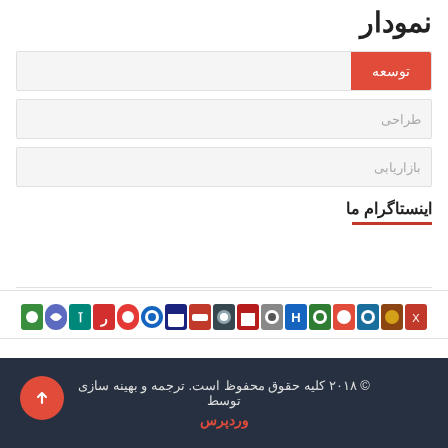نمودار
توسعه
طراحی
بازاریابی
اینستاگرام ما
[Figure (logo): Row of company/bank logos at the bottom of the page]
© ۲۰۱۸ کلیه حقوق محفوظ است. ترجمه و بهینه سازی توسط وردپرس